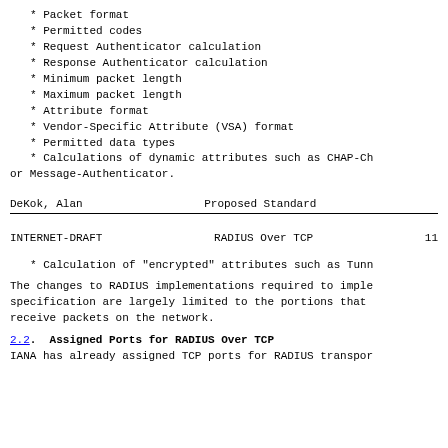* Packet format
* Permitted codes
* Request Authenticator calculation
* Response Authenticator calculation
* Minimum packet length
* Maximum packet length
* Attribute format
* Vendor-Specific Attribute (VSA) format
* Permitted data types
* Calculations of dynamic attributes such as CHAP-Ch
or Message-Authenticator.
DeKok, Alan                    Proposed Standard
INTERNET-DRAFT                 RADIUS Over TCP                        11
* Calculation of "encrypted" attributes such as Tunn
The changes to RADIUS implementations required to imple
specification are largely limited to the portions that
receive packets on the network.
2.2. Assigned Ports for RADIUS Over TCP
IANA has already assigned TCP ports for RADIUS transpor